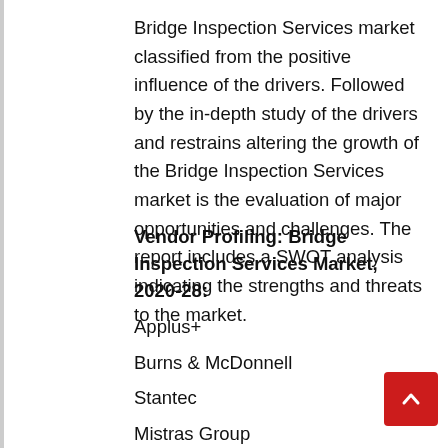Bridge Inspection Services market classified from the positive influence of the drivers. Followed by the in-depth study of the drivers and restrains altering the growth of the Bridge Inspection Services market is the evaluation of major opportunities and challenges. The report includes a SWOT analysis indicating the strengths and threats to the market.
Vendor Profiling: Bridge Inspection Services Market, 2020-28:
Applus+
Burns & McDonnell
Stantec
Mistras Group
ATS Engineering